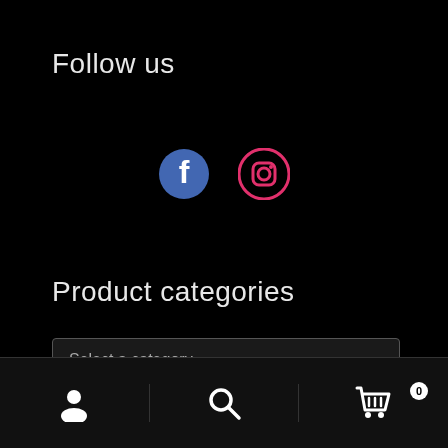Follow us
[Figure (illustration): Facebook and Instagram social media icons centered on black background]
Product categories
[Figure (screenshot): Dropdown selector with placeholder text 'Select a category' and a down arrow on dark background]
Bottom navigation bar with user/account icon, search icon, and shopping cart icon with badge showing 0